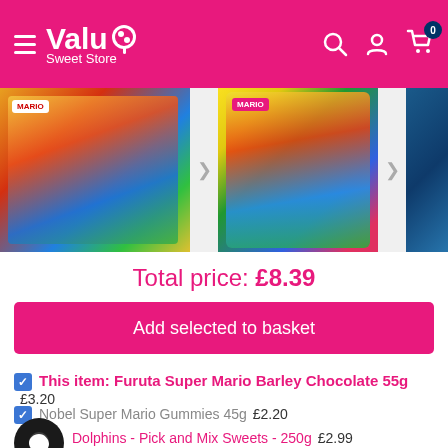Valu Sweet Store
[Figure (screenshot): Three product images in a horizontal strip: Super Mario Barley Chocolate multi-pack, Super Mario Gummies bag, and blue dolphin candy]
Total price: £8.39
Add selected to basket
This item: Furuta Super Mario Barley Chocolate 55g  £3.20
Nobel Super Mario Gummies 45g  £2.20
Dolphins - Pick and Mix Sweets - 250g  £2.99